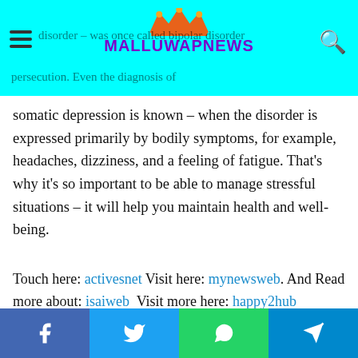MALLUWAPNEWS - [partial article text about disorder / somatic depression]
somatic depression is known – when the disorder is expressed primarily by bodily symptoms, for example, headaches, dizziness, and a feeling of fatigue. That's why it's so important to be able to manage stressful situations – it will help you maintain health and well-being.
Touch here: activesnet Visit here: mynewsweb. And Read more about: isaiweb  Visit more here: happy2hub
[Figure (infographic): Row of social media sharing buttons: Facebook, Twitter, LinkedIn, Tumblr, Pinterest, Reddit, VK, Email, Print]
Mobile bottom share bar: Facebook, Twitter, WhatsApp, Telegram